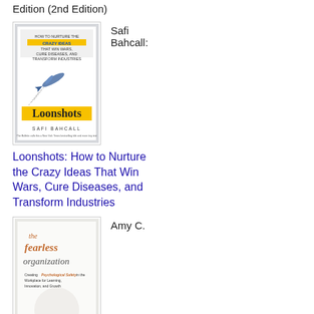Edition (2nd Edition)
[Figure (illustration): Book cover of Loonshots by Safi Bahcall]
Safi Bahcall:
Loonshots: How to Nurture the Crazy Ideas That Win Wars, Cure Diseases, and Transform Industries
[Figure (illustration): Book cover of The Fearless Organization by Amy C. Edmondson]
Amy C.
Edmondson: The Fearless Organization